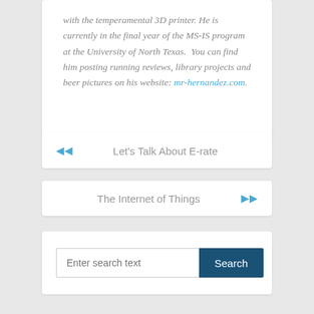with the temperamental 3D printer. He is currently in the final year of the MS-IS program at the University of North Texas.  You can find him posting running reviews, library projects and beer pictures on his website: mr-hernandez.com.
◀◀  Let's Talk About E-rate
The Internet of Things  ▶▶
Enter search text  Search